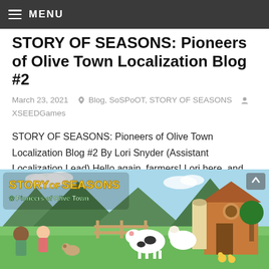MENU
STORY OF SEASONS: Pioneers of Olive Town Localization Blog #2
March 23, 2021   Blog, SoSPoOT, STORY OF SEASONS   XSEEDGames
STORY OF SEASONS: Pioneers of Olive Town Localization Blog #2 By Lori Snyder (Assistant Localization Lead) Hello again, farmers! Lori here, and I'm so glad to see you back for more localization
[Figure (illustration): Story of Seasons: Pioneers of Olive Town game banner illustration showing colorful cartoon characters, farm animals, and a village scene with the game logo]